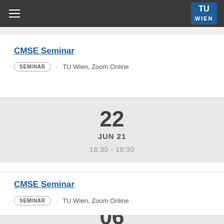TU Wien navigation header
CMSE Seminar
SEMINAR · TU Wien, Zoom Online
22
JUN 21
16:30 - 18:30
CMSE Seminar
SEMINAR · TU Wien, Zoom Online